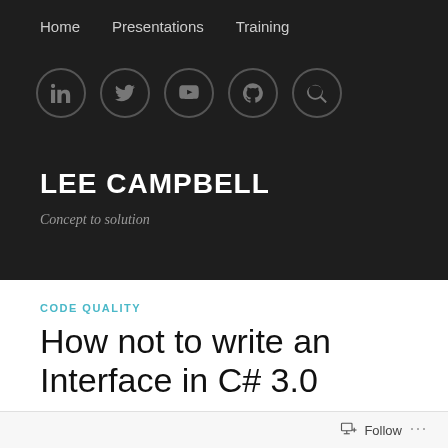Home   Presentations   Training
[Figure (illustration): Social media icon circles: LinkedIn, Twitter, YouTube, GitHub, Search]
LEE CAMPBELL
Concept to solution
CODE QUALITY
How not to write an Interface in C# 3.0
Date: August 15, 2009   Author: leeryancampbell   💬 5